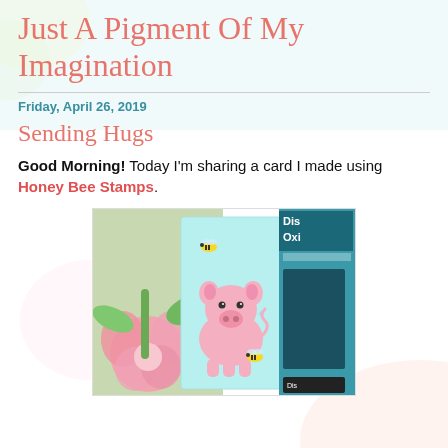Just A Pigment Of My Imagination
Friday, April 26, 2019
Sending Hugs
Good Morning!  Today I'm sharing a card I made using Honey Bee Stamps.
[Figure (photo): A crafting photo showing a handmade card with a cute pink pig and bees on a light blue background, next to a pink flower and Distress Oxide ink pads.]